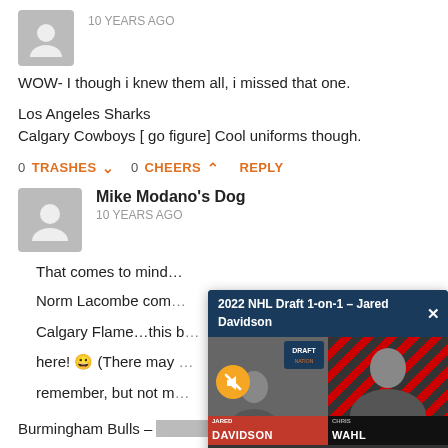10 YEARS AGO
WOW- I though i knew them all, i missed that one.

Los Angeles Sharks
Calgary Cowboys [ go figure] Cool uniforms though.
0 TRASHES  0 CHEERS  REPLY
Mike Modano's Dog
10 YEARS AGO
That comes to mind…

Norm Lacombe com…
Calgary Flame…this b…
here! 😀 (There may …
remember, but not m…

don't remember that …
[Figure (screenshot): 2022 NHL Draft 1-on-1 video popup featuring Jared Davidson and Chris Wahl, with NHL Draft logo, mute button, and name banners.]
Burmingham Bulls – they had a great goalie, didn't they?